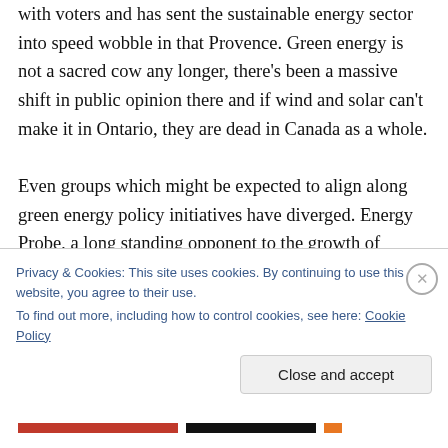with voters and has sent the sustainable energy sector into speed wobble in that Provence. Green energy is not a sacred cow any longer, there's been a massive shift in public opinion there and if wind and solar can't make it in Ontario, they are dead in Canada as a whole.

Even groups which might be expected to align along green energy policy initiatives have diverged. Energy Probe, a long standing opponent to the growth of nuclear energy, has attacked the ditch-coal-for-FIT-scheme as a
Privacy & Cookies: This site uses cookies. By continuing to use this website, you agree to their use.
To find out more, including how to control cookies, see here: Cookie Policy
Close and accept